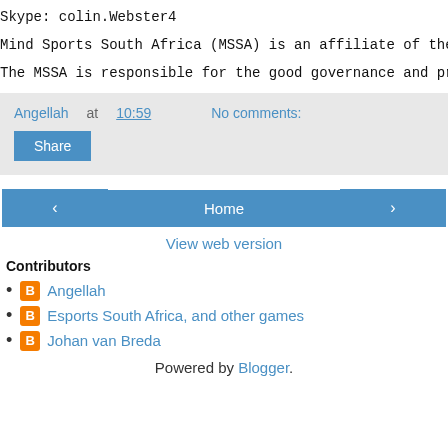Skype: colin.Webster4
Mind Sports South Africa (MSSA) is an affiliate of the So
The MSSA is responsible for the good governance and promo
Angellah at 10:59    No comments:
Share
‹  Home  ›
View web version
Contributors
Angellah
Esports South Africa, and other games
Johan van Breda
Powered by Blogger.